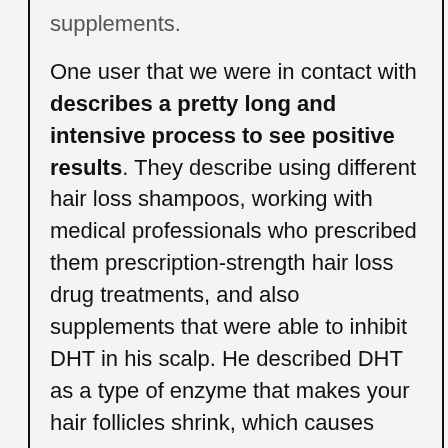supplements. One user that we were in contact with describes a pretty long and intensive process to see positive results. They describe using different hair loss shampoos, working with medical professionals who prescribed them prescription-strength hair loss drug treatments, and also supplements that were able to inhibit DHT in his scalp. He described DHT as a type of enzyme that makes your hair follicles shrink, which causes